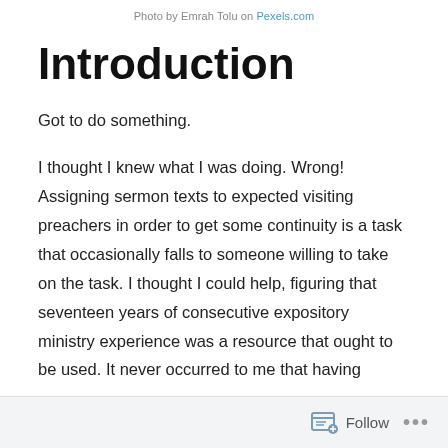Photo by Emrah Tolu on Pexels.com
Introduction
Got to do something.
I thought I knew what I was doing. Wrong! Assigning sermon texts to expected visiting preachers in order to get some continuity is a task that occasionally falls to someone willing to take on the task. I thought I could help, figuring that seventeen years of consecutive expository ministry experience was a resource that ought to be used. It never occurred to me that having
Follow ...